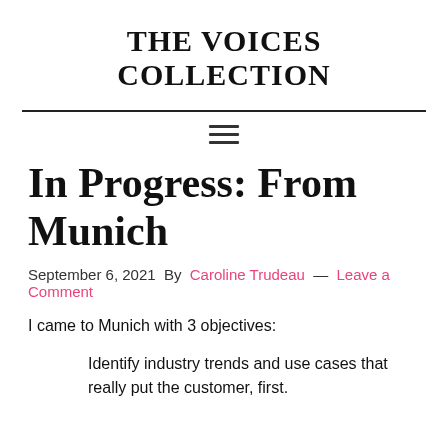THE VOICES COLLECTION
In Progress: From Munich
September 6, 2021 By Caroline Trudeau — Leave a Comment
I came to Munich with 3 objectives:
Identify industry trends and use cases that really put the customer, first.